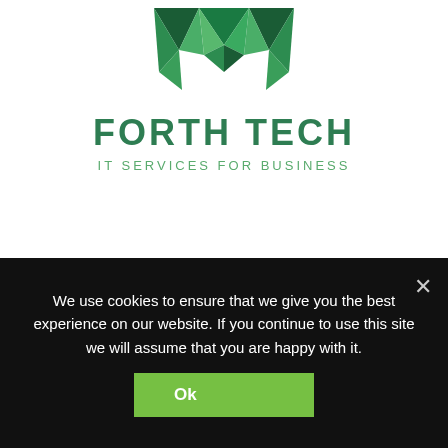[Figure (logo): Forth Tech geometric green logo mark — polygonal W/V shape made of green triangles]
FORTH TECH
IT SERVICES FOR BUSINESS
Dunfermline Office
12 Abbey Park Place,
Dunfermline,
KY12 7PD
We use cookies to ensure that we give you the best experience on our website. If you continue to use this site we will assume that you are happy with it.